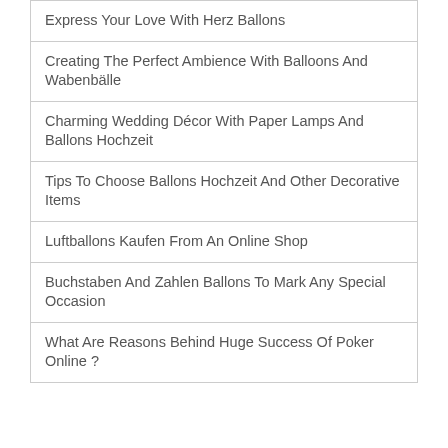Express Your Love With Herz Ballons
Creating The Perfect Ambience With Balloons And Wabenbälle
Charming Wedding Décor With Paper Lamps And Ballons Hochzeit
Tips To Choose Ballons Hochzeit And Other Decorative Items
Luftballons Kaufen From An Online Shop
Buchstaben And Zahlen Ballons To Mark Any Special Occasion
What Are Reasons Behind Huge Success Of Poker Online ?